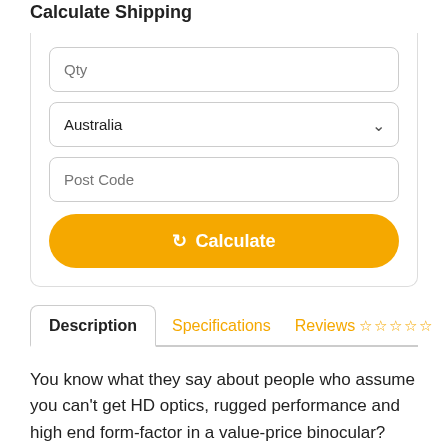Calculate Shipping
Qty
Australia
Post Code
Calculate
Description
Specifications
Reviews ☆ ☆ ☆ ☆ ☆
You know what they say about people who assume you can't get HD optics, rugged performance and high end form-factor in a value-price binocular? They clearly haven't checked out the Crossfire® HD. Add in the included GlassPakTM binocular harness for quick optic deployment in the field and superior